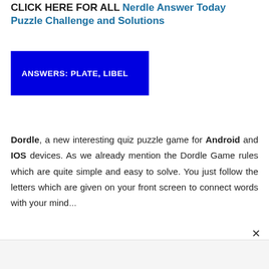CLICK HERE FOR ALL Nerdle Answer Today Puzzle Challenge and Solutions
ANSWERS: PLATE, LIBEL
Dordle, a new interesting quiz puzzle game for Android and IOS devices. As we already mention the Dordle Game rules which are quite simple and easy to solve. You just follow the letters which are given on your front screen to connect words with your mind